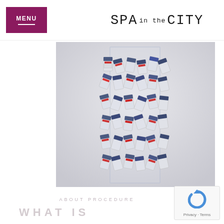MENU | SPA in the CITY
[Figure (photo): A clear acrylic or glass rectangular vase filled with numerous small medical vials/botox bottles with blue and red caps, on a light grey background.]
ABOUT PROCEDURE
WHAT IS